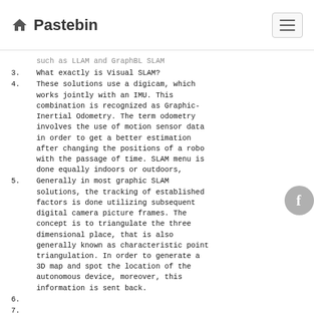Pastebin
such as LLAM and GraphBL SLAM
3.  What exactly is Visual SLAM?
4.  These solutions use a digicam, which works jointly with an IMU. This combination is recognized as Graphic-Inertial Odometry. The term odometry involves the use of motion sensor data in order to get a better estimation after changing the positions of a robot with the passage of time. SLAM menu is done equally indoors or outdoors,
5.  Generally in most graphic SLAM solutions, the tracking of established factors is done utilizing subsequent digital camera picture frames. The concept is to triangulate the three dimensional place, that is also generally known as characteristic point triangulation. In order to generate a 3D map and spot the location of the autonomous device, moreover, this information is sent back.
6.
7.
8.  Apart from this, an IMU is put in to